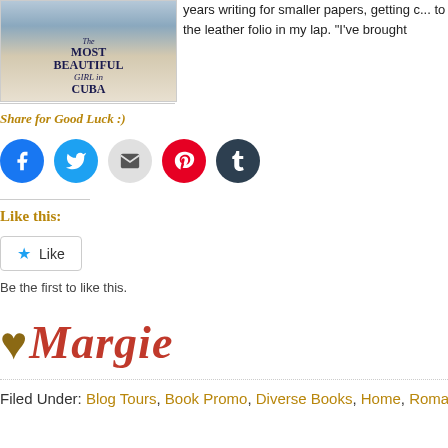[Figure (illustration): Book cover of 'The Most Beautiful Girl in Cuba' showing a woman in a white dress on a balcony with architectural columns]
years writing for smaller papers, getting c... to the leather folio in my lap. “I’ve brought
Share for Good Luck :)
[Figure (other): Social sharing buttons: Facebook (blue circle), Twitter (cyan circle), Email (gray circle), Pinterest (red circle), Tumblr (dark blue circle)]
Like this:
[Figure (other): WordPress Like button with star icon and text 'Like']
Be the first to like this.
[Figure (logo): Margie Reads blog logo: gold heart icon followed by 'Margie' in red italic script text]
Filed Under: Blog Tours, Book Promo, Diverse Books, Home, Roman...